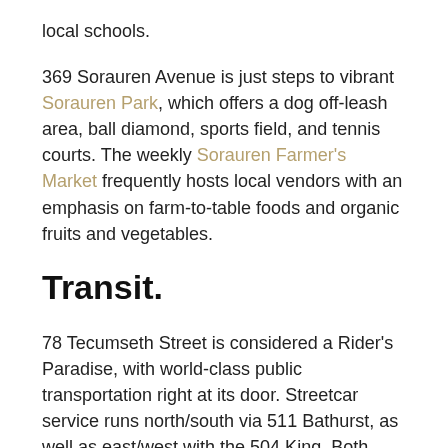local schools.
369 Sorauren Avenue is just steps to vibrant Sorauren Park, which offers a dog off-leash area, ball diamond, sports field, and tennis courts. The weekly Sorauren Farmer's Market frequently hosts local vendors with an emphasis on farm-to-table foods and organic fruits and vegetables.
Transit.
78 Tecumseth Street is considered a Rider's Paradise, with world-class public transportation right at its door. Streetcar service runs north/south via 511 Bathurst, as well as east/west with the 504 King. Both streetcar lines connect to subway stations, making getting around the city a cinch. A few blocks north, the 501 Queen streetcar offers service 24 hours a day. Nearby, bus route